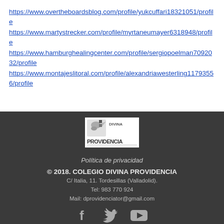https://www.overtheboardsblog.com/profile/yukcuffari18321051/profile
https://www.martystrecker.com/profile/myrtaneumayer6318948/profile
https://www.hamburghealingcenter.com/profile/sergiopoelman7092032/profile
https://www.montajeslitoral.com/profile/alexandriawesterling11793556/profile
[Figure (logo): Colegio Divina Providencia logo with dove icon and text PROVIDENCIA]
Política de privacidad
© 2018. COLEGIO DIVINA PROVIDENCIA
C/ Italia, 11. Tordesillas (Valladolid).
Tel: 983 770 924
Mail: dprovidenciator@gmail.com
[Figure (illustration): Social media icons: Facebook, Twitter, YouTube]